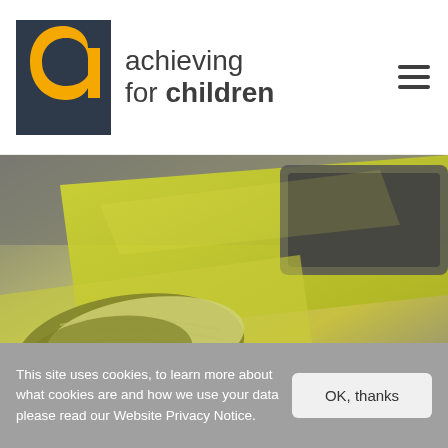[Figure (logo): Achieving for Children logo: yellow/orange stylized 'a' letter in a dark square, beside the text 'achieving for children']
[Figure (photo): Close-up photograph of rolled/stacked newspapers with yellow-green and grey tones, blurred background suggesting media/press materials]
This site uses cookies, to learn more about what cookies are and how we use your data please read our Website Privacy Notice.